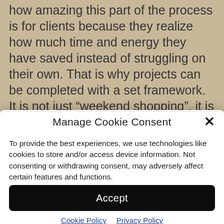how amazing this part of the process is for clients because they realize how much time and energy they have saved instead of struggling on their own. That is why projects can be completed with a set framework. It is not just “weekend shopping”, it is a professional designer’s full-time job to get your project done so you can really start living in your home!
Manage Cookie Consent
To provide the best experiences, we use technologies like cookies to store and/or access device information. Not consenting or withdrawing consent, may adversely affect certain features and functions.
Accept
Cookie Policy   Privacy Policy